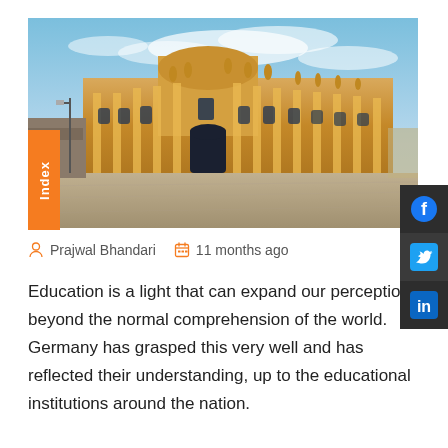[Figure (photo): Photo of a grand classical European university building (likely Humboldt University Berlin) with golden stone facade, large columns, statues on top, and a wide cobblestone plaza in front under a partly cloudy blue sky.]
Prajwal Bhandari   11 months ago
Education is a light that can expand our perception beyond the normal comprehension of the world. Germany has grasped this very well and has reflected their understanding, up to the educational institutions around the nation.